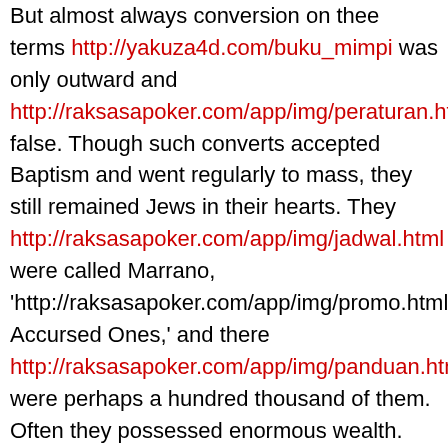But almost always conversion on thee terms http://yakuza4d.com/buku_mimpi was only outward and http://raksasapoker.com/app/img/peraturan.html false. Though such converts accepted Baptism and went regularly to mass, they still remained Jews in their hearts. They http://raksasapoker.com/app/img/jadwal.html were called Marrano, 'http://raksasapoker.com/app/img/promo.html Accursed Ones,' and there http://raksasapoker.com/app/img/panduan.html were perhaps a hundred thousand of them. Often they possessed enormous wealth. Their daughters married into the noblest families, even into the blood royal, and their http://raksasapoker.com/ sons sometimes entered the Church and rose to the highest offices. It is said that even one of the popes was of this Marrano stock.
Reply